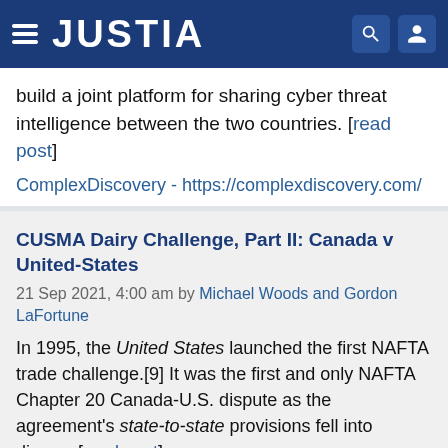JUSTIA
build a joint platform for sharing cyber threat intelligence between the two countries. [read post]
ComplexDiscovery - https://complexdiscovery.com/
CUSMA Dairy Challenge, Part II: Canada v United-States
21 Sep 2021, 4:00 am by Michael Woods and Gordon LaFortune
In 1995, the United States launched the first NAFTA trade challenge.[9] It was the first and only NAFTA Chapter 20 Canada-U.S. dispute as the agreement's state-to-state provisions fell into disuse. [read post]
Slaw - http://www.slaw.ca/